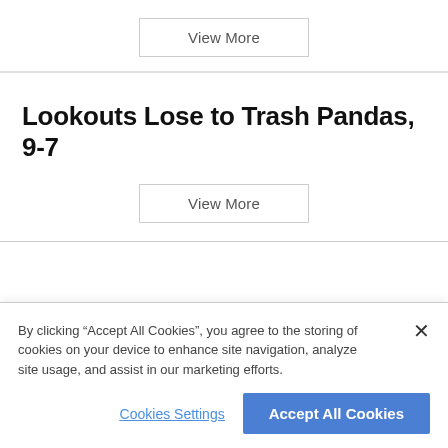View More
Lookouts Lose to Trash Pandas, 9-7
View More
By clicking “Accept All Cookies”, you agree to the storing of cookies on your device to enhance site navigation, analyze site usage, and assist in our marketing efforts.
Cookies Settings
Accept All Cookies